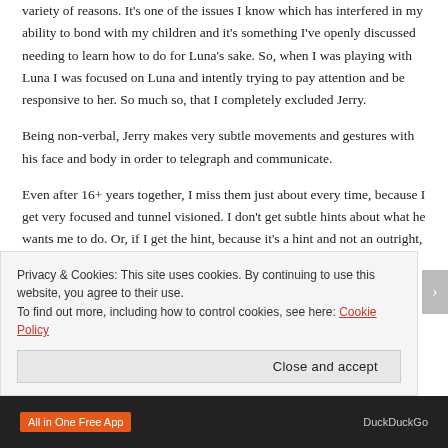variety of reasons. It's one of the issues I know which has interfered in my ability to bond with my children and it's something I've openly discussed needing to learn how to do for Luna's sake. So, when I was playing with Luna I was focused on Luna and intently trying to pay attention and be responsive to her. So much so, that I completely excluded Jerry.
Being non-verbal, Jerry makes very subtle movements and gestures with his face and body in order to telegraph and communicate.
Even after 16+ years together, I miss them just about every time, because I get very focused and tunnel visioned. I don't get subtle hints about what he wants me to do. Or, if I get the hint, because it's a hint and not an outright, direct request, it falls off my radar pretty
Privacy & Cookies: This site uses cookies. By continuing to use this website, you agree to their use.
To find out more, including how to control cookies, see here: Cookie Policy
Close and accept
[Figure (other): Bottom ad bar with orange 'All in One Free App' label on left and 'DuckDuckGo' text on right, dark background]